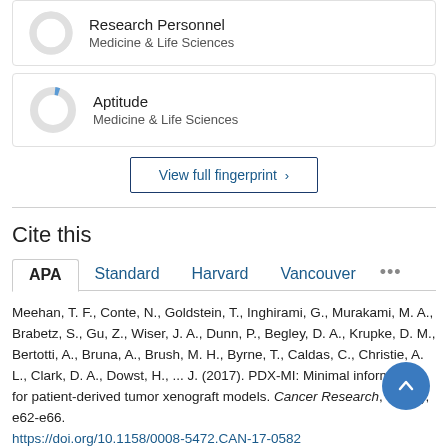[Figure (donut-chart): Small donut chart, nearly empty/gray, for Research Personnel, Medicine & Life Sciences]
Research Personnel
Medicine & Life Sciences
[Figure (donut-chart): Small donut chart, nearly empty/gray with tiny blue slice, for Aptitude, Medicine & Life Sciences]
Aptitude
Medicine & Life Sciences
View full fingerprint ›
Cite this
APA  Standard  Harvard  Vancouver  •••
Meehan, T. F., Conte, N., Goldstein, T., Inghirami, G., Murakami, M. A., Brabetz, S., Gu, Z., Wiser, J. A., Dunn, P., Begley, D. A., Krupke, D. M., Bertotti, A., Bruna, A., Brush, M. H., Byrne, T., Caldas, C., Christie, A. L., Clark, D. A., Dowst, H., ... J. (2017). PDX-MI: Minimal information for patient-derived tumor xenograft models. Cancer Research, 77(21), e62-e66. https://doi.org/10.1158/0008-5472.CAN-17-0582